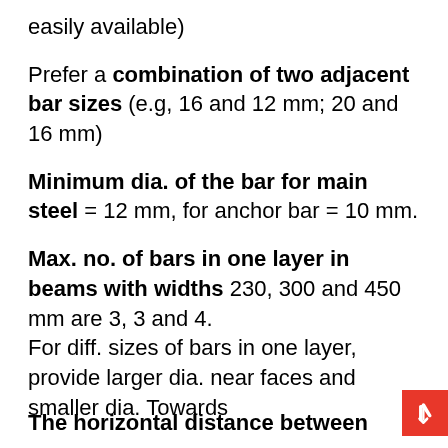easily available)
Prefer a combination of two adjacent bar sizes (e.g, 16 and 12 mm; 20 and 16 mm)
Minimum dia. of the bar for main steel = 12 mm, for anchor bar = 10 mm.
Max. no. of bars in one layer in beams with widths 230, 300 and 450 mm are 3, 3 and 4.
For diff. sizes of bars in one layer, provide larger dia. near faces and smaller dia. Towards
The horizontal distance between